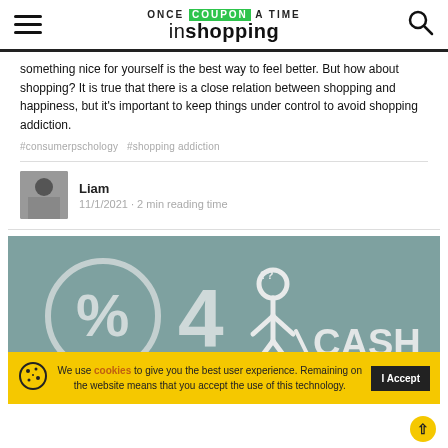ONCE COUPON A TIME inshopping
something nice for yourself is the best way to feel better. But how about shopping? It is true that there is a close relation between shopping and happiness, but it's important to keep things under control to avoid shopping addiction.
#consumerpschology  #shopping addiction
Liam
11/1/2021 · 2 min reading time
[Figure (photo): Promotional image with percent sign, number 4, person icon, and the word CASH on a textured background]
We use cookies to give you the best user experience. Remaining on the website means that you accept the use of this technology.